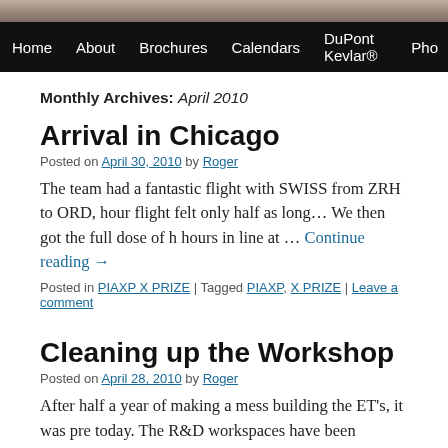[Figure (photo): Header image showing a dark sky/landscape background strip]
Home | About | Brochures | Calendars | DuPont Kevlar® | Pho...
Monthly Archives: April 2010
Arrival in Chicago
Posted on April 30, 2010 by Roger
The team had a fantastic flight with SWISS from ZRH to ORD, hour flight felt only half as long… We then got the full dose of h hours in line at … Continue reading →
Posted in PIAXP X PRIZE | Tagged PIAXP, X PRIZE | Leave a comment
Cleaning up the Workshop
Posted on April 28, 2010 by Roger
After half a year of making a mess building the ET's, it was pre today. The R&D workspaces have been cleaned up to make ro...